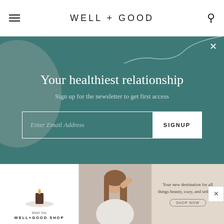WELL+GOOD
[Figure (screenshot): Newsletter signup overlay on teal/dark green background with decorative circle and swirl. Title: 'Your healthiest relationship'. Subtitle: 'Sign up for the newsletter to get first access'. Email input and SIGNUP button.]
My very favorite cocktail bar is nearly a dead ringer for for Miss Havisham's dilapidated mansion in the 1998 remake of Great Expectations. The main difference between the two
[Figure (screenshot): Well+Good Shop advertisement banner with three panels: left panel shows a candle on a plate with 'Meet the WELL+GOOD SHOP' text, center panel shows a woman with hand on head, right panel shows 'Your new destination for all things beauty, cozy, and self-care' with a shop now button.]